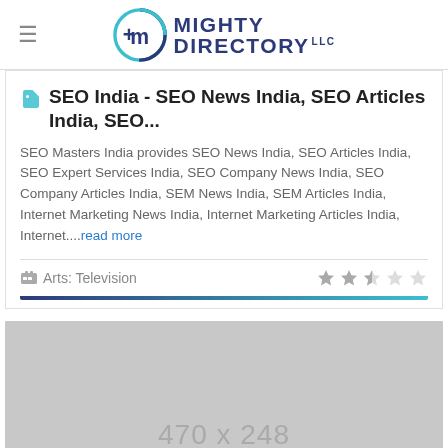MIGHTY DIRECTORY LLC
SEO India - SEO News India, SEO Articles India, SEO...
SEO Masters India provides SEO News India, SEO Articles India, SEO Expert Services India, SEO Company News India, SEO Company Articles India, SEM News India, SEM Articles India, Internet Marketing News India, Internet Marketing Articles India, Internet....read more
Arts: Television
[Figure (other): Gray placeholder image showing dimensions 470 x 248]